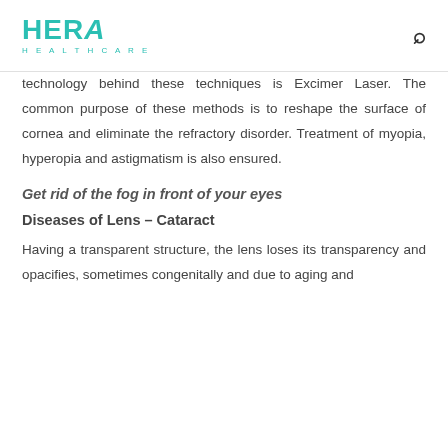HERA HEALTHCARE
technology behind these techniques is Excimer Laser. The common purpose of these methods is to reshape the surface of cornea and eliminate the refractory disorder. Treatment of myopia, hyperopia and astigmatism is also ensured.
Get rid of the fog in front of your eyes
Diseases of Lens – Cataract
Having a transparent structure, the lens loses its transparency and opacifies, sometimes congenitally and due to aging and